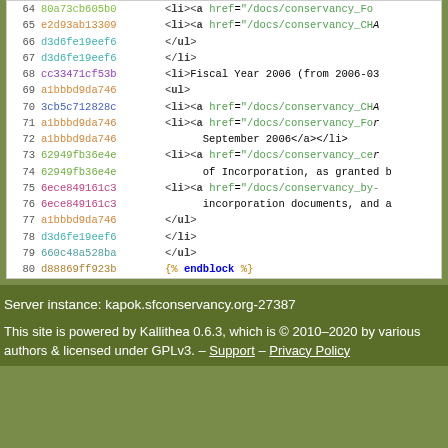[Figure (screenshot): Code viewer screenshot showing lines 64-80 of a template file with line numbers, git commit hashes in various colors, and HTML/template code content]
Server instance: kapok.sfconservancy.org-27387
This site is powered by Kallithea 0.6.3, which is © 2010–2020 by various authors & licensed under GPLv3. – Support – Privacy Policy